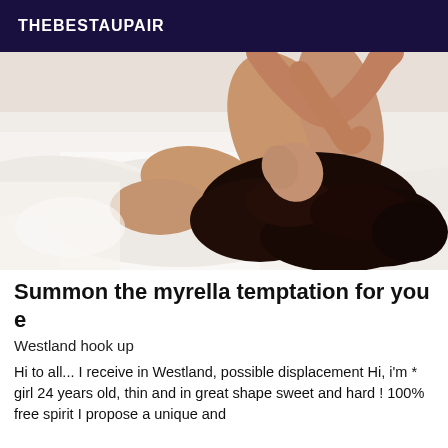THEBESTAUPAIR
[Figure (photo): A person with dark curly hair lying on white bedsheets, body partially covered, arms raised.]
Summon the myrella temptation for you e
Westland hook up
Hi to all... I receive in Westland, possible displacement Hi, i'm * girl 24 years old, thin and in great shape sweet and hard ! 100% free spirit I propose a unique and